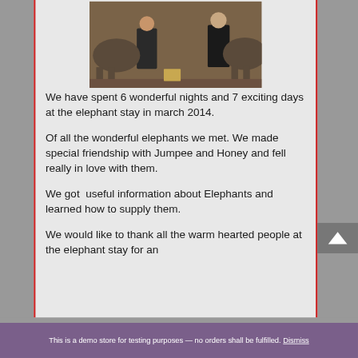[Figure (photo): Two people standing in front of elephants at an elephant stay, brown earthy tones]
We have spent 6 wonderful nights and 7 exciting days at the elephant stay in march 2014.
Of all the wonderful elephants we met. We made special friendship with Jumpee and Honey and fell really in love with them.
We got  useful information about Elephants and learned how to supply them.
We would like to thank all the warm hearted people at the elephant stay for an
This is a demo store for testing purposes — no orders shall be fulfilled. Dismiss